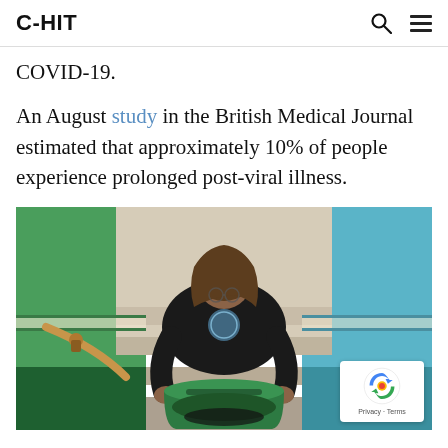C-HIT
COVID-19.
An August study in the British Medical Journal estimated that approximately 10% of people experience prolonged post-viral illness.
[Figure (photo): Person hunched over carrying a green laundry basket on a staircase with green walls and a wooden handrail, viewed from above]